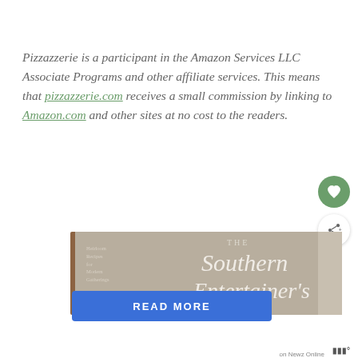Pizzazzerie is a participant in the Amazon Services LLC Associate Programs and other affiliate services. This means that pizzazzerie.com receives a small commission by linking to Amazon.com and other sites at no cost to the readers.
[Figure (photo): Photo of 'The Southern Entertainer's' book cover, shown at an angle. The cover is beige/taupe colored with white italic text reading 'THE Southern Entertainer's'. Small text on the left side reads 'Heirloom Recipes for Modern Gatherings'. A blue 'READ MORE' button appears overlaid at the bottom. A 'on Newz Online' label and share/heart/up-arrow UI buttons are visible.]